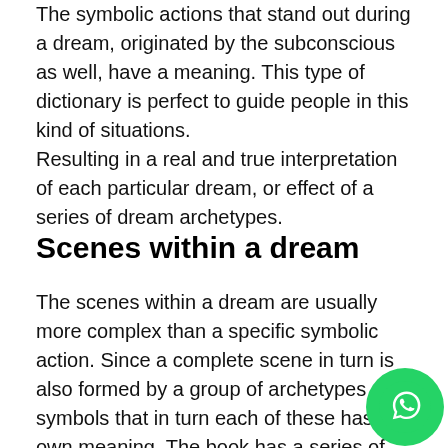The symbolic actions that stand out during a dream, originated by the subconscious as well, have a meaning. This type of dictionary is perfect to guide people in this kind of situations.
Resulting in a real and true interpretation of each particular dream, or effect of a series of dream archetypes.
Scenes within a dream
The scenes within a dream are usually more complex than a specific symbolic action. Since a complete scene in turn is also formed by a group of archetypes or symbols that in turn each of these has its own meaning. The book has a series of clarifications that will allow the reader to decipher the…
[Figure (logo): WhatsApp icon — green circle with white phone handset logo]